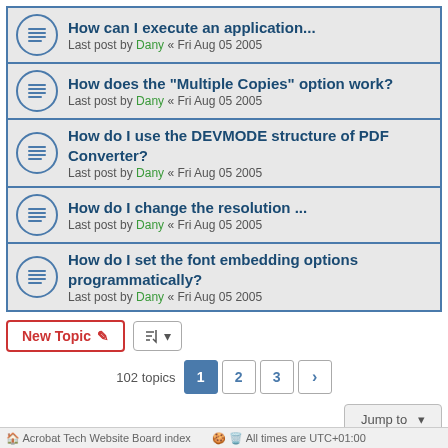How can I execute an application... — Last post by Dany « Fri Aug 05 2005
How does the "Multiple Copies" option work? — Last post by Dany « Fri Aug 05 2005
How do I use the DEVMODE structure of PDF Converter? — Last post by Dany « Fri Aug 05 2005
How do I change the resolution ... — Last post by Dany « Fri Aug 05 2005
How do I set the font embedding options programmatically? — Last post by Dany « Fri Aug 05 2005
102 topics  1  2  3  >
Jump to
FORUM PERMISSIONS
You cannot post new topics in this forum
You cannot reply to topics in this forum
You cannot edit your posts in this forum
You cannot delete your posts in this forum
You cannot post attachments in this forum